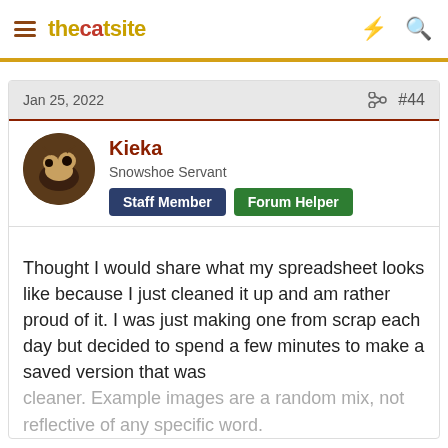thecatsite
Jan 25, 2022  #44
Kieka
Snowshoe Servant
Staff Member  Forum Helper
Thought I would share what my spreadsheet looks like because I just cleaned it up and am rather proud of it. I was just making one from scrap each day but decided to spend a few minutes to make a saved version that was cleaner. Example images are a random mix, not reflective of any specific word.